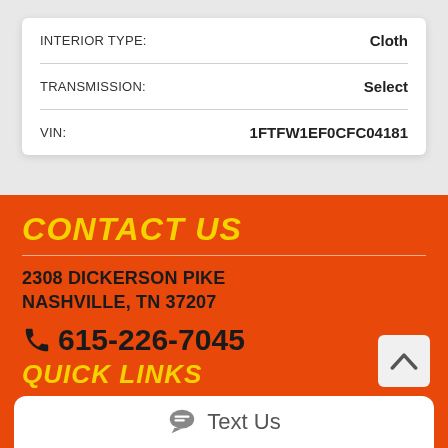| INTERIOR TYPE: | Cloth |
| TRANSMISSION: | Select |
| VIN: | 1FTFW1EF0CFC04181 |
CONTACT US
2308 DICKERSON PIKE
NASHVILLE, TN 37207
☎ 615-226-7045
QUICK LINKS
Text Us